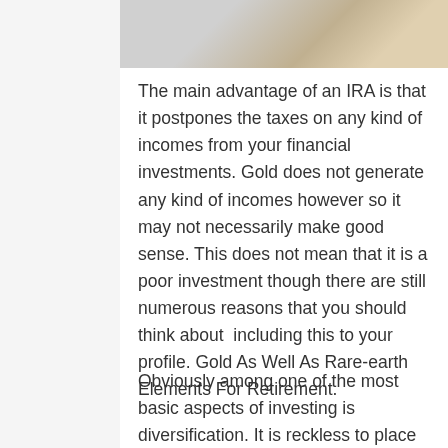[Figure (photo): Partial image of gold coins/bars at the top of the page]
The main advantage of an IRA is that it postpones the taxes on any kind of incomes from your financial investments. Gold does not generate any kind of incomes however so it may not necessarily make good sense. This does not mean that it is a poor investment though there are still numerous reasons that you should think about  including this to your profile. Gold As Well As Rare-earth Elements For Retirement.
Obviously among one of the most basic aspects of investing is diversification. It is reckless to place all of your eggs in one basket so to speak. As if the value of this